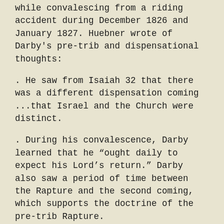while convalescing from a riding accident during December 1826 and January 1827. Huebner wrote of Darby's pre-trib and dispensational thoughts:
. He saw from Isaiah 32 that there was a different dispensation coming ...that Israel and the Church were distinct.
. During his convalescence, Darby learned that he “ought daily to expect his Lord’s return.” Darby also saw a period of time between the Rapture and the second coming, which supports the doctrine of the pre-trib Rapture.
. Darby himself said in 1857 that he first started understanding things relating to the pre-tribulation Rapture “thirty years